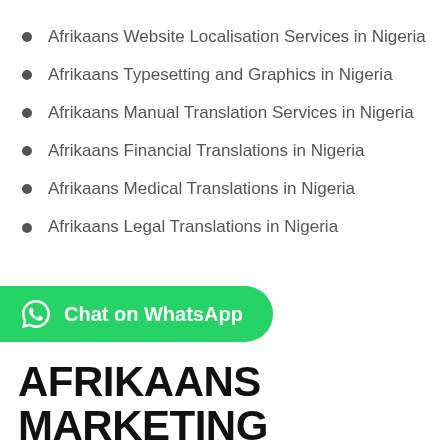Afrikaans Website Localisation Services in Nigeria
Afrikaans Typesetting and Graphics in Nigeria
Afrikaans Manual Translation Services in Nigeria
Afrikaans Financial Translations in Nigeria
Afrikaans Medical Translations in Nigeria
Afrikaans Legal Translations in Nigeria
[Figure (other): Green rounded button with WhatsApp icon and text 'Chat on WhatsApp']
AFRIKAANS MARKETING TRANSLATIONS IN NIGERIA
Before entering into a new market, you need to create